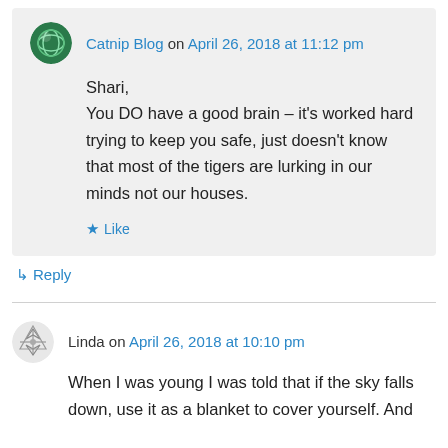Catnip Blog on April 26, 2018 at 11:12 pm
Shari,
You DO have a good brain – it's worked hard trying to keep you safe, just doesn't know that most of the tigers are lurking in our minds not our houses.
★ Like
↳ Reply
Linda on April 26, 2018 at 10:10 pm
When I was young I was told that if the sky falls down, use it as a blanket to cover yourself. And